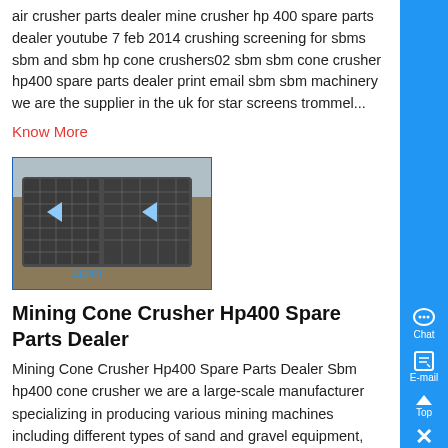air crusher parts dealer mine crusher hp 400 spare parts dealer youtube 7 feb 2014 crushing screening for sbms sbm and sbm hp cone crushers02 sbm sbm cone crusher hp400 spare parts dealer print email sbm sbm machinery we are the supplier in the uk for star screens trommel...
Know More
[Figure (photo): Industrial vibrating screen / mining equipment with metal mesh panels, photographed in an industrial setting. Watermark: ZENIT.]
Mining Cone Crusher Hp400 Spare Parts Dealer
Mining Cone Crusher Hp400 Spare Parts Dealer Sbm hp400 cone crusher we are a large-scale manufacturer specializing in producing various mining machines including different types of sand and gravel equipment, milling equipment, mineral ,...